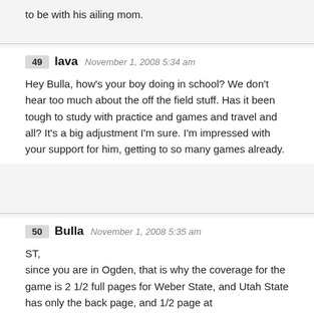to be with his ailing mom.
49  lava  November 1, 2008 5:34 am
Hey Bulla, how's your boy doing in school? We don't hear too much about the off the field stuff. Has it been tough to study with practice and games and travel and all? It's a big adjustment I'm sure. I'm impressed with your support for him, getting to so many games already.
50  Bulla  November 1, 2008 5:35 am
ST,
since you are in Ogden, that is why the coverage for the game is 2 1/2 full pages for Weber State, and Utah State has only the back page, and 1/2 page at